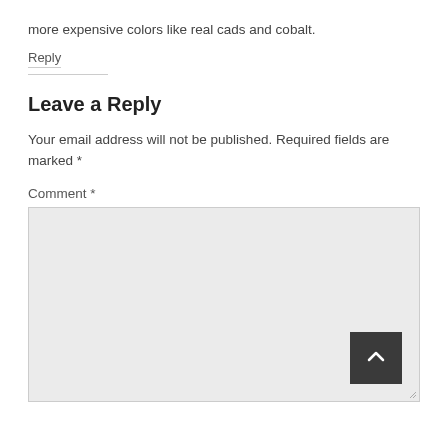more expensive colors like real cads and cobalt.
Reply
Leave a Reply
Your email address will not be published. Required fields are marked *
Comment *